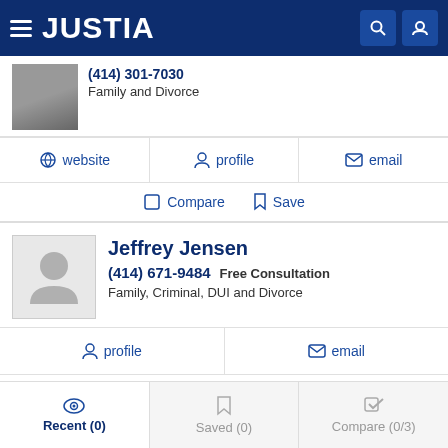JUSTIA
(414) 301-7030 — Family and Divorce
website | profile | email
Compare | Save
Jeffrey Jensen
(414) 671-9484 Free Consultation
Family, Criminal, DUI and Divorce
profile | email
Compare | Save
Recent (0) | Saved (0) | Compare (0/3)